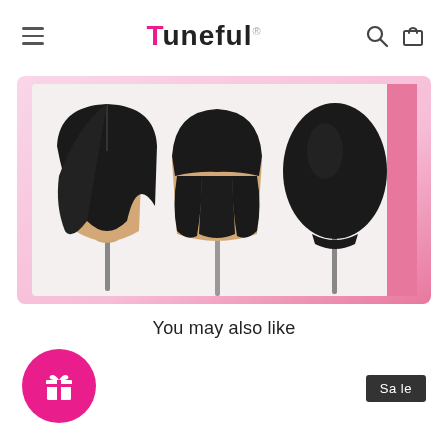Tuneful
[Figure (photo): Three black bob wigs displayed on stands against a pink gradient background. Left wig shows side part, middle wig shows lace front from front, right wig shows back view.]
You may also like
[Figure (illustration): Pink circular gift button icon]
[Figure (other): Dark sale badge with text 'Sale']